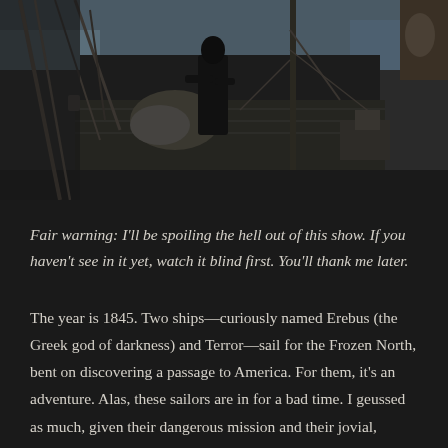[Figure (photo): A dark, moody photograph of a sailing ship deck. A person dressed in black stands on the wooden deck surrounded by ropes, rigging, masts, sails, and various ship equipment. The background shows grey icy water. The overall tone is dark and atmospheric.]
Fair warning: I'll be spoiling the hell out of this show. If you haven't see in it yet, watch it blind first. You'll thank me later.
The year is 1845. Two ships—curiously named Erebus (the Greek god of darkness) and Terror—sail for the Frozen North, bent on discovering a passage to America. For them, it's an adventure. Alas, these sailors are in for a bad time. I geussed as much, given their dangerous mission and their jovial, religious captain, Sir John. What can go wrong will. However, the level to which this misery unfolds is